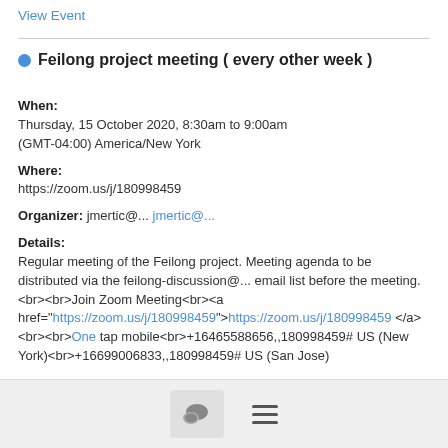View Event
Feilong project meeting ( every other week )
When:
Thursday, 15 October 2020, 8:30am to 9:00am
(GMT-04:00) America/New York
Where:
https://zoom.us/j/180998459
Organizer: jmertic@... jmertic@...
Details:
Regular meeting of the Feilong project. Meeting agenda to be distributed via the feilong-discussion@... email list before the meeting.<br><br>Join Zoom Meeting<br><a href="https://zoom.us/j/180998459">https://zoom.us/j/180998459</a><br><br>One tap mobile<br>+16465588656,,180998459# US (New York)<br>+16699006833,,180998459# US (San Jose)